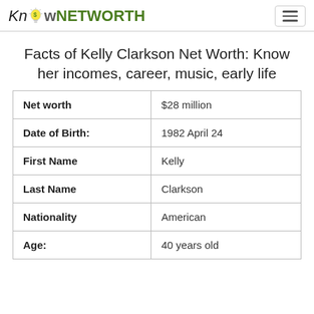KnowNETWORTH
Facts of Kelly Clarkson Net Worth: Know her incomes, career, music, early life
| Net worth | $28 million |
| Date of Birth: | 1982 April 24 |
| First Name | Kelly |
| Last Name | Clarkson |
| Nationality | American |
| Age: | 40 years old |